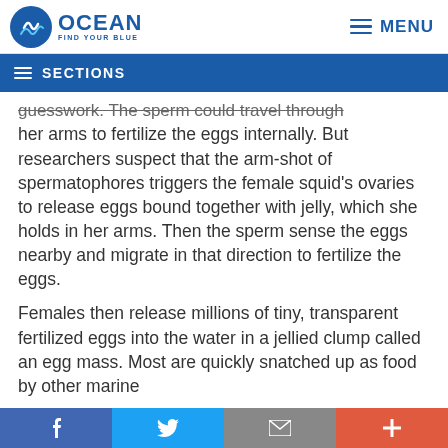OCEAN — FIND YOUR BLUE | MENU
SECTIONS
guesswork. The sperm could travel through her arms to fertilize the eggs internally. But researchers suspect that the arm-shot of spermatophores triggers the female squid's ovaries to release eggs bound together with jelly, which she holds in her arms. Then the sperm sense the eggs nearby and migrate in that direction to fertilize the eggs.
Females then release millions of tiny, transparent fertilized eggs into the water in a jellied clump called an egg mass. Most are quickly snatched up as food by other marine
f  [twitter]  [mail]  +